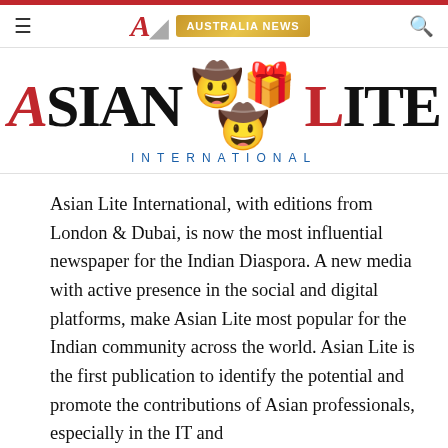≡  A  AUSTRALIA NEWS  🔍
[Figure (logo): Asian Lite International logo with stylized text and emblem]
Asian Lite International, with editions from London & Dubai, is now the most influential newspaper for the Indian Diaspora. A new media with active presence in the social and digital platforms, make Asian Lite most popular for the Indian community across the world. Asian Lite is the first publication to identify the potential and promote the contributions of Asian professionals, especially in the IT and